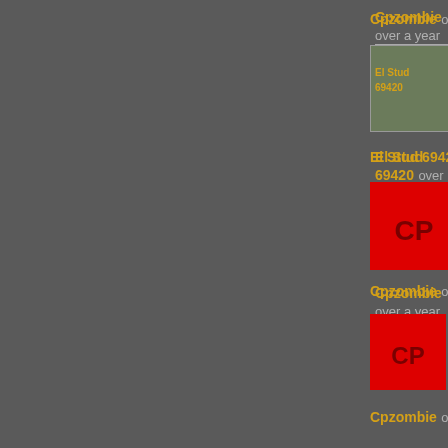Cpzombie over a year ago Reply
[Figure (illustration): Avatar image for El Stud 69420 - small thumbnail]
@Cpzombie, and you didn't down right now.
El Stud 69420 over a year ago Reply
[Figure (illustration): Red CP avatar for Cpzombie]
@El Stud 69420, well yea, I tend t
Cpzombie over a year ago Reply
[Figure (illustration): Red CP avatar for Cpzombie]
I want that
Cpzombie over a year ago Reply
[Figure (photo): Avatar photo for Cpzombie - black and white image]
My down vote troll senses are tingling
dirty wallnut over a year ago Reply
[Figure (illustration): Red avatar partially visible at bottom]
@dirty wallnut, pickle, you, and I a